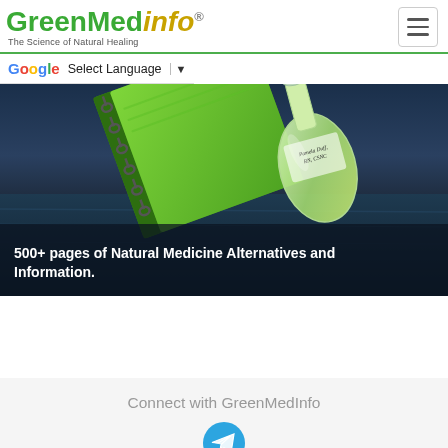GreenMedInfo - The Science of Natural Healing
Select Language ▼
[Figure (photo): Hero image showing a green spiral-bound notebook and glass bottle/flask, tilted diagonally, with text 'Pamela Duff, RN, CSNC' on the bottle, over a dark blue/teal ocean background]
500+ pages of Natural Medicine Alternatives and Information.
Connect with GreenMedInfo
[Figure (logo): Telegram messenger icon - blue circle with white paper airplane]
Links